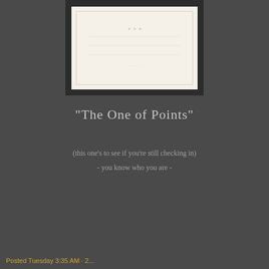[Figure (illustration): A framed vintage or antique image with a cream/beige background, appearing to show a faint illustration]
"The One of Points"
(this one's to see if you're still checking in)
- you know who you are -
Posted Tuesday 3:35 AM · 2...